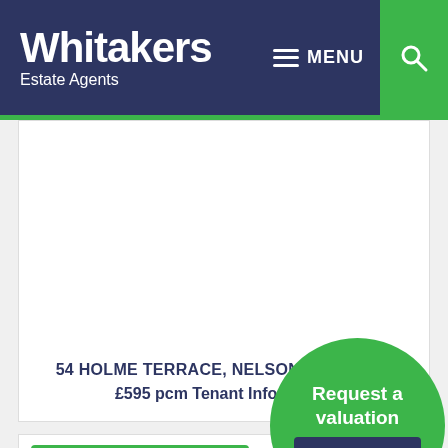Whitakers Estate Agents — MENU
54 HOLME TERRACE, NELSON, LANCAS...
£595 pcm Tenant Info - To let
[Figure (illustration): Request a valuation circle button with green background, white text 'Request a valuation' and dark blue 'CLICK HERE' button]
3 BEDS | 1 BATH | 2 LIVING